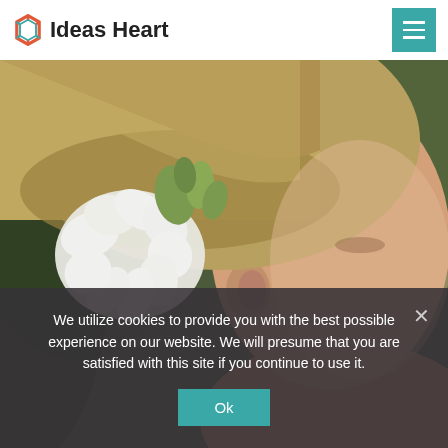Ideas Heart
[Figure (photo): Close-up portrait of a young woman with blonde hair pulled back, wearing a white flower with green accents in her hair. Background is blurred green foliage.]
We utilize cookies to provide you with the best possible experience on our website. We will presume that you are satisfied with this site if you continue to use it.
Ok